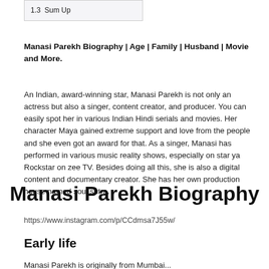1.3  Sum Up
Manasi Parekh Biography | Age | Family | Husband | Movie and More.
An Indian, award-winning star, Manasi Parekh is not only an actress but also a singer, content creator, and producer. You can easily spot her in various Indian Hindi serials and movies. Her character Maya gained extreme support and love from the people and she even got an award for that. As a singer, Manasi has performed in various music reality shows, especially on star ya Rockstar on zee TV. Besides doing all this, she is also a digital content and documentary creator. She has her own production house named soul sutra.
Manasi Parekh Biography
https://www.instagram.com/p/CCdmsa7J55w/
Early life
Manasi Parekh is originally from Mumbai...